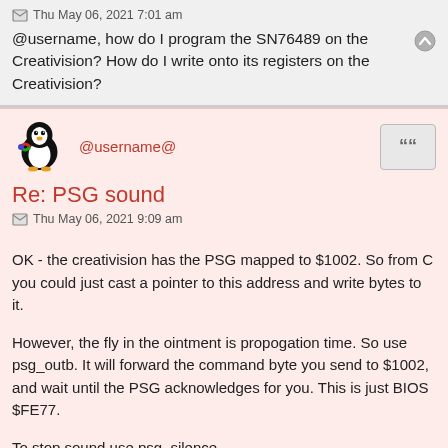Thu May 06, 2021 7:01 am
@username, how do I program the SN76489 on the Creativision? How do I write onto its registers on the Creativision?
@username@
Re: PSG sound
Thu May 06, 2021 9:09 am
OK - the creativision has the PSG mapped to $1002. So from C you could just cast a pointer to this address and write bytes to it.
However, the fly in the ointment is propogation time. So use psg_outb. It will forward the command byte you send to $1002, and wait until the PSG acknowledges for you. This is just BIOS $FE77.
To stop sound use psg_silence.
psg_silence just sends $9f,$bf, $df,$ff to the PSG (Set volume off on each channel).
So to replicate the keyboard beep - is just
psg  outb(0x80); // Latch frequency